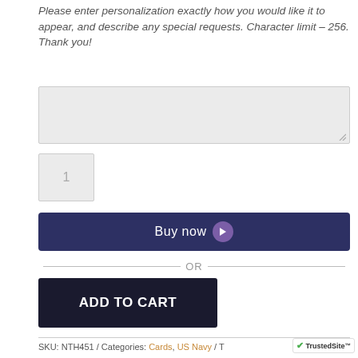Please enter personalization exactly how you would like it to appear, and describe any special requests. Character limit – 256. Thank you!
[Figure (screenshot): Text area input box (gray background, empty)]
[Figure (screenshot): Quantity input box showing placeholder '1']
[Figure (screenshot): Buy now button with purple arrow circle icon]
— OR —
[Figure (screenshot): ADD TO CART button (dark navy background, white text)]
SKU: NTH451 / Categories: Cards, US Navy / T
[Figure (logo): TrustedSite badge with green checkmark]